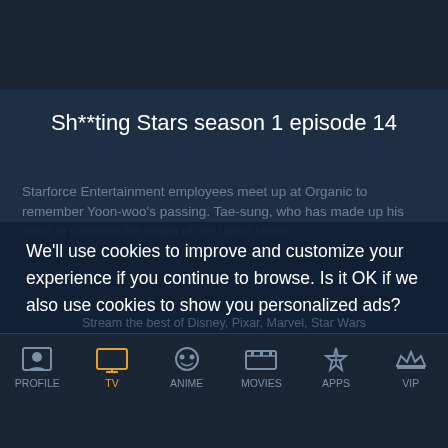Sh**ting Stars season 1 episode 14
Starforce Entertainment employees meet up at Organic to remember Yoon-woo's passing. Tae-sung, who has made up his mind to confront the origin of the latest chaos...
We'll use cookies to improve and customize your experience if you continue to browse. Is it OK if we also use cookies to show you personalized ads?
Yes, Accept Cookies
Stream the best of Disney, Pixar, Marvel, Star Wars
PROFILE  TV  ANIME  MOVIES  APPS  VIP